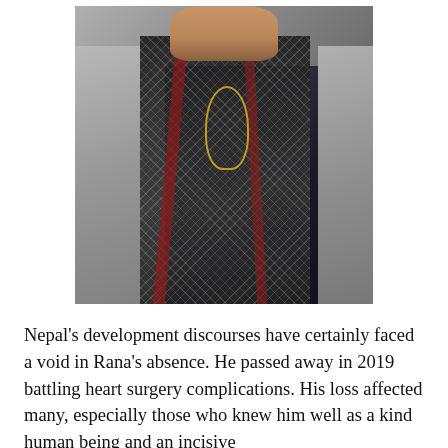[Figure (photo): Portrait photo of an older man wearing a grey plaid blazer over a dark checkered shirt, with a black and white houndstooth scarf draped over his shoulders, and a gold chain necklace visible.]
Nepal's development discourses have certainly faced a void in Rana's absence. He passed away in 2019 battling heart surgery complications. His loss affected many, especially those who knew him well as a kind human being and an incisive